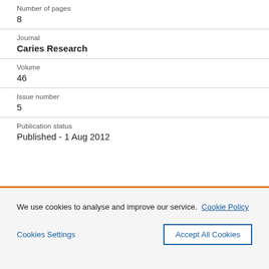Number of pages
8
Journal
Caries Research
Volume
46
Issue number
5
Publication status
Published - 1 Aug 2012
We use cookies to analyse and improve our service. Cookie Policy
Cookies Settings
Accept All Cookies